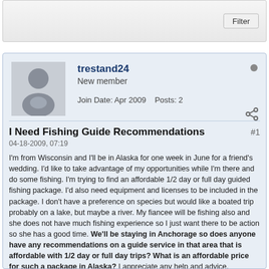Filter
trestand24
New member
Join Date: Apr 2009  Posts: 2
I Need Fishing Guide Recommendations
04-18-2009, 07:19
I'm from Wisconsin and I'll be in Alaska for one week in June for a friend's wedding. I'd like to take advantage of my opportunities while I'm there and do some fishing. I'm trying to find an affordable 1/2 day or full day guided fishing package. I'd also need equipment and licenses to be included in the package. I don't have a preference on species but would like a boated trip probably on a lake, but maybe a river. My fiancee will be fishing also and she does not have much fishing experience so I just want there to be action so she has a good time. We'll be staying in Anchorage so does anyone have any recommendations on a guide service in that area that is affordable with 1/2 day or full day trips? What is an affordable price for such a package in Alaska? I appreciate any help and advice.